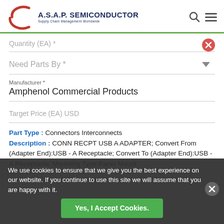A.S.A.P. SEMICONDUCTOR Supply Chain Management Worldwide
Quantity (EA) *
Need Parts By *
Manufacturer *
Amphenol Commercial Products
Target Price (EA) USD
Part Type : Connectors Interconnects
Description : CONN RECPT USB A ADAPTER; Convert From (Adapter End):USB - A Receptacle; Convert To (Adapter End):USB - A Receptacle; Mounting Type:Panel Mount
We use cookies to ensure that we give you the best experience on our website. If you continue to use this site we will assume that you are happy with it.
Yes, I Accept Cookies.